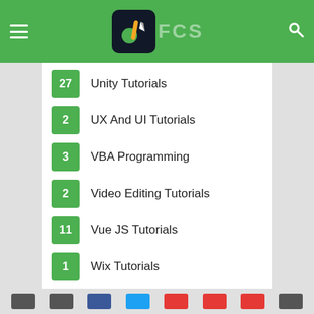FCS - Being Smart Is Great
27 Unity Tutorials
2 UX And UI Tutorials
3 VBA Programming
2 Video Editing Tutorials
11 Vue JS Tutorials
1 Wix Tutorials
48 Wordpress Tutorials
1 Xamarin Tutorials
1 Xcode Tutorials
10 YouTube Marketing Tutorials